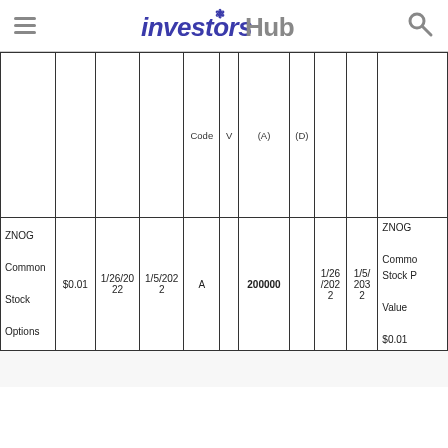investorsHub
|  |  |  |  | Code | V | (A) | (D) |  |  | ZNOG Common Stock Options / ... |
| --- | --- | --- | --- | --- | --- | --- | --- | --- | --- | --- |
| ZNOG
Common
Stock
Options | $0.01 | 1/26/2022 | 1/5/2022 | A |  | 200000 |  | 1/26/2022 | 1/5/2032 | ZNOG
Common
Stock P
Value
$0.01 |